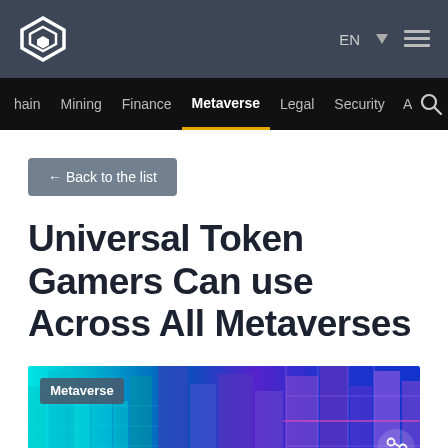CoinTelegraph navigation header with logo, EN language selector, and hamburger menu
hain  Mining  Finance  Metaverse  Legal  Security  A  [search]
← Back to the list
Universal Token Gamers Can use Across All Metaverses
[Figure (photo): Hero image of a futuristic metaverse cityscape with neon blue and purple glowing buildings, with a 'Metaverse' category label in the top-left corner and a share icon in the bottom-right.]